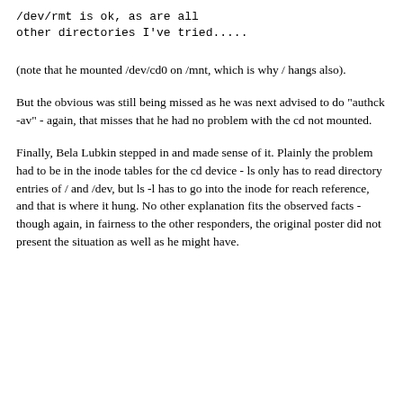/dev/rmt is ok, as are all other directories I've tried.....
(note that he mounted /dev/cd0 on /mnt, which is why / hangs also).
But the obvious was still being missed as he was next advised to do "authck -av" - again, that misses that he had no problem with the cd not mounted.
Finally, Bela Lubkin stepped in and made sense of it. Plainly the problem had to be in the inode tables for the cd device - ls only has to read directory entries of / and /dev, but ls -l has to go into the inode for reach reference, and that is where it hung. No other explanation fits the observed facts - though again, in fairness to the other responders, the original poster did not present the situation as well as he might have.